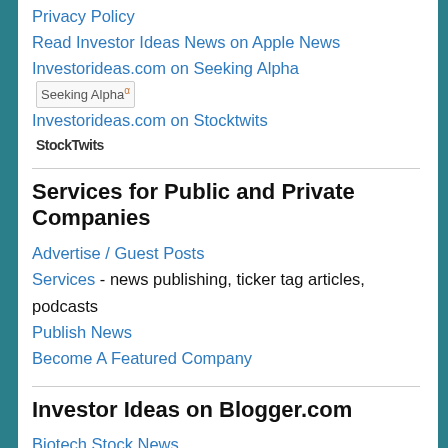Privacy Policy
Read Investor Ideas News on Apple News
Investorideas.com on Seeking Alpha [Seeking Alpha logo]
Investorideas.com on Stocktwits [StockTwits logo]
Services for Public and Private Companies
Advertise / Guest Posts
Services - news publishing, ticker tag articles, podcasts
Publish News
Become A Featured Company
Investor Ideas on Blogger.com
Biotech Stock News
Cannabis stocks
Cannabis stocks newswire
Clean Energy News
Defense Stocks